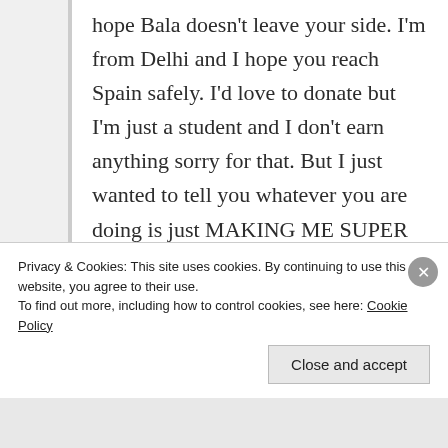hope Bala doesn't leave your side. I'm from Delhi and I hope you reach Spain safely. I'd love to donate but I'm just a student and I don't earn anything sorry for that. But I just wanted to tell you whatever you are doing is just MAKING ME SUPER EXCITING JUST TO KNOW THAT SOMEONE OUT THERE IS DOING SOMETHING THIS AMAZING. Wow just wow. HAVE A GOOD JOURNEY. Take care. I'd love to meet you sometime. Maybe when I grow up i I end up travelling a lot too. YOU ARE MY ALEX
Privacy & Cookies: This site uses cookies. By continuing to use this website, you agree to their use.
To find out more, including how to control cookies, see here: Cookie Policy
Close and accept